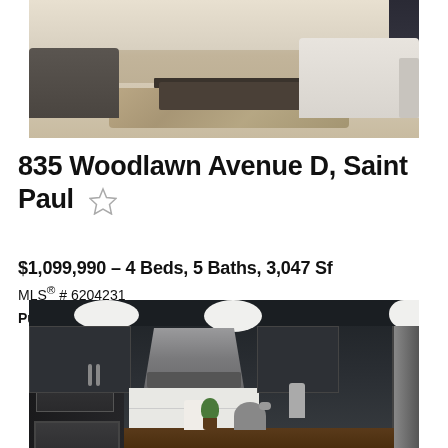[Figure (photo): Interior photo of a modern living room with a dark coffee table on a beige rug, a dark armchair on the left, and a light-colored sofa on the right. Light hardwood floors visible.]
835 Woodlawn Avenue D, Saint Paul
$1,099,990 – 4 Beds, 5 Baths, 3,047 Sf
MLS® # 6204231
Pulte Homes Of Minnesota, LLC
[Figure (photo): Interior photo of a modern kitchen with dark navy/charcoal upper cabinets, a stainless steel range hood in the center, white tile backsplash, double wall ovens on the left, pendant lights hanging from ceiling, and a partial view of stainless steel refrigerator on the right.]